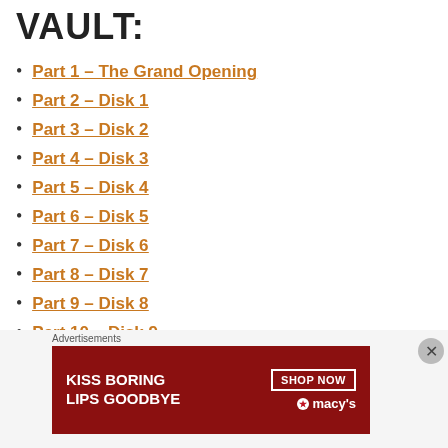VAULT:
Part 1 – The Grand Opening
Part 2 – Disk 1
Part 3 – Disk 2
Part 4 – Disk 3
Part 5 – Disk 4
Part 6 – Disk 5
Part 7 – Disk 6
Part 8 – Disk 7
Part 9 – Disk 8
Part 10 – Disk 9
Part 11 – Disk 10
Part 12 – The Bonus Disk
[Figure (advertisement): Macy's lipstick advertisement: KISS BORING LIPS GOODBYE, SHOP NOW, macy's logo]